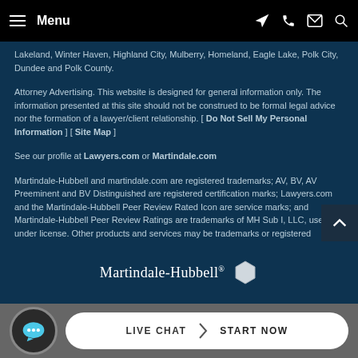Menu
Lakeland, Winter Haven, Highland City, Mulberry, Homeland, Eagle Lake, Polk City, Dundee and Polk County.
Attorney Advertising. This website is designed for general information only. The information presented at this site should not be construed to be formal legal advice nor the formation of a lawyer/client relationship. [ Do Not Sell My Personal Information ] [ Site Map ]
See our profile at Lawyers.com or Martindale.com
Martindale-Hubbell and martindale.com are registered trademarks; AV, BV, AV Preeminent and BV Distinguished are registered certification marks; Lawyers.com and the Martindale-Hubbell Peer Review Rated Icon are service marks; and Martindale-Hubbell Peer Review Ratings are trademarks of MH Sub I, LLC, used under license. Other products and services may be trademarks or registered trademarks of their respective companies. Copyright © 2022 MH Sub I, LLC. All rights reserved.
[Figure (logo): Martindale-Hubbell logo with hexagon badge icon]
LIVE CHAT | START NOW